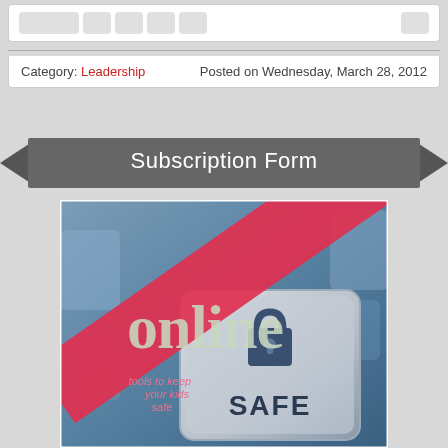[Figure (screenshot): Social media sharing icons row (placeholder buttons)]
Category: Leadership    Posted on Wednesday, March 28, 2012
Subscription Form
[Figure (photo): Online safety book cover showing a keyboard key with a padlock and the text 'online' on a red diagonal banner, with 'tools to keep your kids safe' and 'SAFE' text]